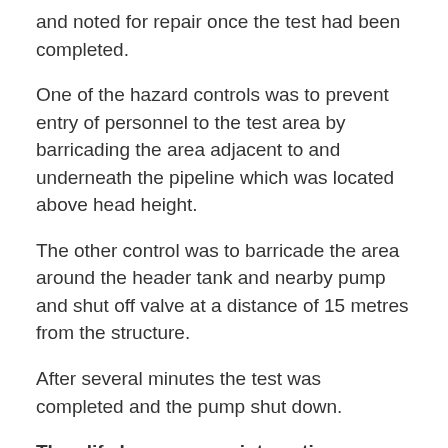and noted for repair once the test had been completed.
One of the hazard controls was to prevent entry of personnel to the test area by barricading the area adjacent to and underneath the pipeline which was located above head height.
The other control was to barricade the area around the header tank and nearby pump and shut off valve at a distance of 15 metres from the structure.
After several minutes the test was completed and the pump shut down.
Then life became very interesting.
About 8 seconds later there was a tremendous noise with the header tank being spun on its axis with such force that nearly all the column base-plate nuts were